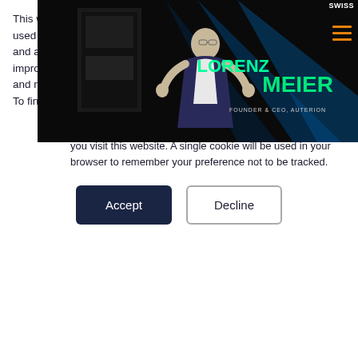[Figure (photo): A speaker man on stage with text overlay reading LORENZ MEIER FOUNDER & CEO, AUTERION on a dark background with blue lighting. The word SWISS appears in the top right corner along with a hamburger menu icon in orange.]
This website stores cookies on your computer. These cookies are used to collect information about how you interact with our website and allow us to remember you. We use this information in order to improve and customize your browsing experience and for analytics and metrics about our visitors both on this website and other media. To find out more about the cookies we use, see our Privacy Policy.
If you decline, your information won't be tracked when you visit this website. A single cookie will be used in your browser to remember your preference not to be tracked.